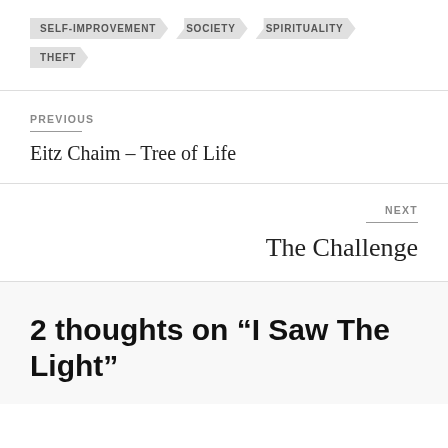SELF-IMPROVEMENT
SOCIETY
SPIRITUALITY
THEFT
PREVIOUS
Eitz Chaim – Tree of Life
NEXT
The Challenge
2 thoughts on “I Saw The Light”